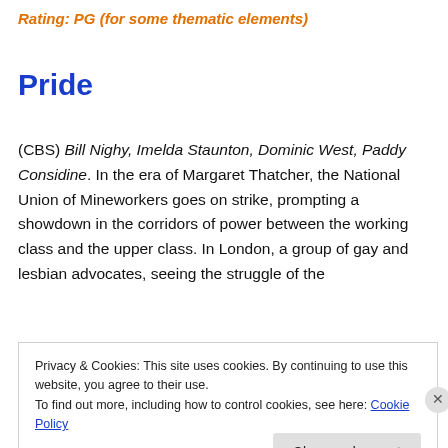Rating: PG (for some thematic elements)
Pride
(CBS) Bill Nighy, Imelda Staunton, Dominic West, Paddy Considine. In the era of Margaret Thatcher, the National Union of Mineworkers goes on strike, prompting a showdown in the corridors of power between the working class and the upper class. In London, a group of gay and lesbian advocates, seeing the struggle of the
Privacy & Cookies: This site uses cookies. By continuing to use this website, you agree to their use.
To find out more, including how to control cookies, see here: Cookie Policy